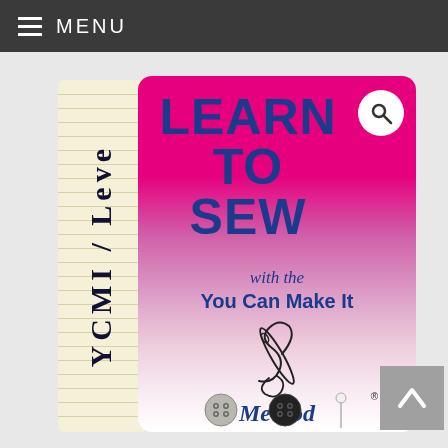≡ MENU
[Figure (illustration): Book cover for 'Learn to Sew with the You Can Make It Method' showing a pink-to-white gradient background, large blue bold title text 'LEARN TO SEW', subtitle 'with the You Can Make It Method', a needle and thread logo, sewing buttons at the bottom, and a cream-colored book spine on the left reading 'YCMI/Level'. A circular search button is in the top right corner of the cover. A gray back-to-top arrow button is at the bottom right.]